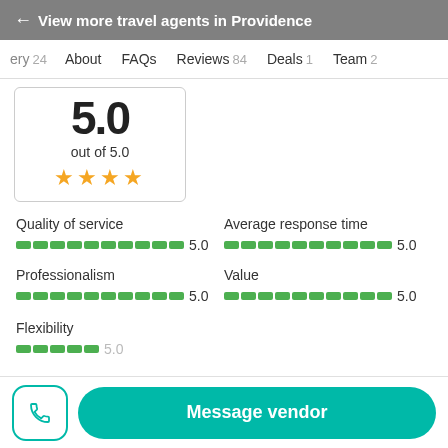← View more travel agents in Providence
ery 24   About   FAQs   Reviews 84   Deals 1   Team 2
5.0 out of 5.0 ★★★★
Quality of service 5.0
Average response time 5.0
Professionalism 5.0
Value 5.0
Flexibility
Message vendor